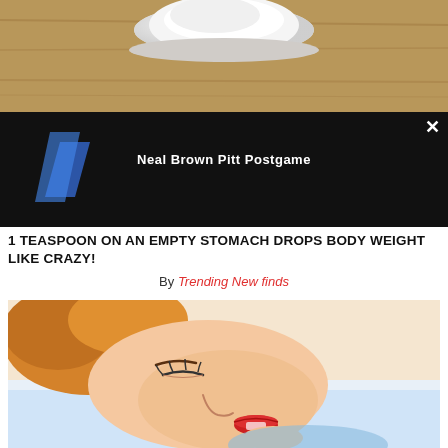[Figure (photo): Top portion of a photo showing a bowl of white powder on a wooden surface]
[Figure (screenshot): Video overlay on dark/black background with title 'Neal Brown Pitt Postgame' and a close button X in the top right, and a blue diagonal shape on the left side]
1 TEASPOON ON AN EMPTY STOMACH DROPS BODY WEIGHT LIKE CRAZY!
By Trending New finds
[Figure (illustration): Comic/cartoon style illustration of a woman with reddish-blonde hair sleeping, face close-up with red lips]